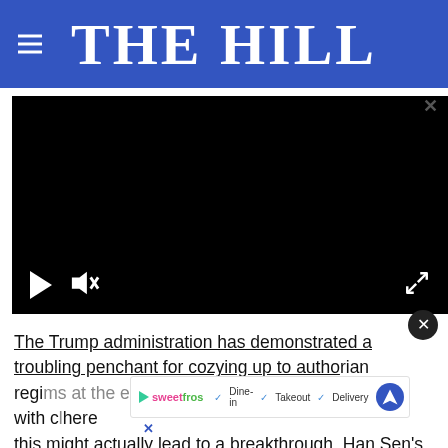THE HILL
[Figure (screenshot): Embedded video player with black screen, play button, mute button, and fullscreen button on dark controls bar]
The Trump administration has demonstrated a troubling penchant for cozying up to authoritarian regimes at the expense of our long-standing alliances with our... where this might actually lead to a breakthrough. Han Sen's